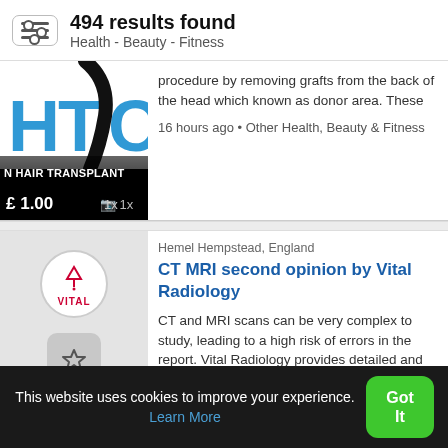494 results found
Health - Beauty - Fitness
procedure by removing grafts from the back of the head which known as donor area. These
16 hours ago • Other Health, Beauty & Fitness
[Figure (screenshot): Hair transplant service listing thumbnail with HTC logo, price £1.00 and 1x photo indicator]
Hemel Hempstead, England
CT MRI second opinion by Vital Radiology
CT and MRI scans can be very complex to study, leading to a high risk of errors in the report. Vital Radiology provides detailed and
1 day ago • Other Health, Beauty & Fitness
[Figure (screenshot): Vital Radiology logo circle with VITAL text and star/bookmark button below]
This website uses cookies to improve your experience. Learn More
Got It